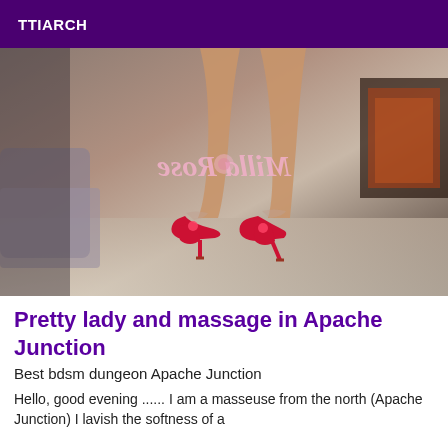TTIARCH
[Figure (photo): Photo of a woman's legs wearing red high-heeled stiletto shoes, standing on a light floor with a couch and fireplace in the background. A mirrored/reflected pink logo text reading 'Milla Rose' is overlaid on the image.]
Pretty lady and massage in Apache Junction
Best bdsm dungeon Apache Junction
Hello, good evening ...... I am a masseuse from the north (Apache Junction) I lavish the softness of a